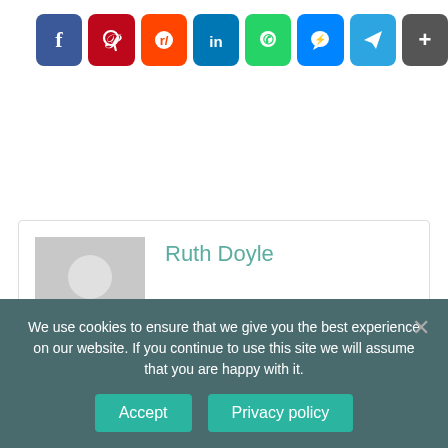[Figure (infographic): Row of 8 social media share buttons: Facebook (blue), Pinterest (dark red), Reddit (orange), LinkedIn (blue), WhatsApp (green), Messenger (blue), Telegram (cyan-blue), More/Share (gray)]
[Figure (photo): Author card with gray placeholder avatar and name 'Ruth Doyle' in teal text]
We use cookies to ensure that we give you the best experience on our website. If you continue to use this site we will assume that you are happy with it.
Accept   Privacy policy